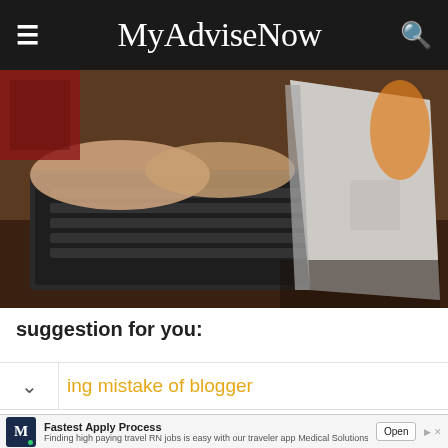MyAdviseNow
[Figure (photo): Person typing on a Microsoft Surface laptop/tablet on a wooden desk, with a red bag and orange mug visible in the background.]
suggestion for you:
ing mistake of blogger
Fastest Apply Process
Finding high paying travel RN jobs is easy with our traveler app Medical Solutions